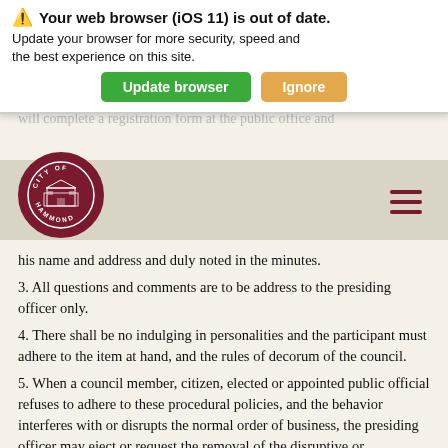[Figure (screenshot): Browser warning overlay: 'Your web browser (iOS 11) is out of date. Update your browser for more security, speed and the best experience on this site.' with 'Update browser' (green) and 'Ignore' (orange) buttons.]
[Figure (logo): City of Hammond circular seal/logo in dark red with building illustration and text 'CITY OF HAMMOND']
his name and address and duly noted in the minutes.
3. All questions and comments are to be address to the presiding officer only.
4. There shall be no indulging in personalities and the participant must adhere to the item at hand, and the rules of decorum of the council.
5. When a council member, citizen, elected or appointed public official refuses to adhere to these procedural policies, and the behavior interferes with or disrupts the normal order of business, the presiding officer may eject or request the removal of the disruptive or obstructive party or parties. The presiding officer shall prior to the discussion of a particular item, allow time for the discussion of that item.